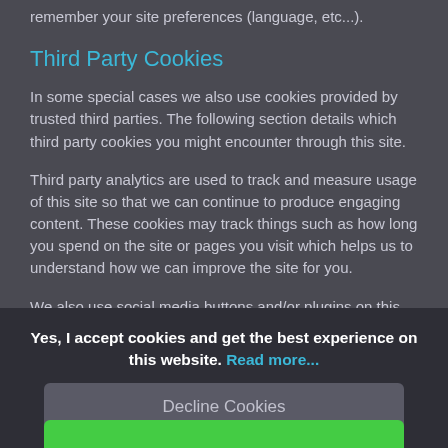remember your site preferences (language, etc...).
Third Party Cookies
In some special cases we also use cookies provided by trusted third parties. The following section details which third party cookies you might encounter through this site.
Third party analytics are used to track and measure usage of this site so that we can continue to produce engaging content. These cookies may track things such as how long you spend on the site or pages you visit which helps us to understand how we can improve the site for you.
We also use social media buttons and/or plugins on this site that allow you to connect with your social network in various ways. For these to work the following social media sites
Yes, I accept cookies and get the best experience on this website. Read more...
Decline Cookies